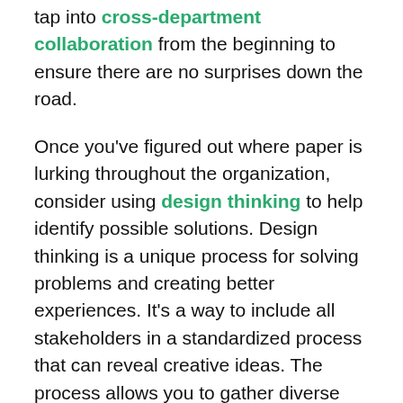tap into cross-department collaboration from the beginning to ensure there are no surprises down the road.
Once you've figured out where paper is lurking throughout the organization, consider using design thinking to help identify possible solutions. Design thinking is a unique process for solving problems and creating better experiences. It's a way to include all stakeholders in a standardized process that can reveal creative ideas. The process allows you to gather diverse perspectives, involve all necessary parties, and develop new solutions to your most frustrating problems.
Learn More: Listen to our Ripple Effect